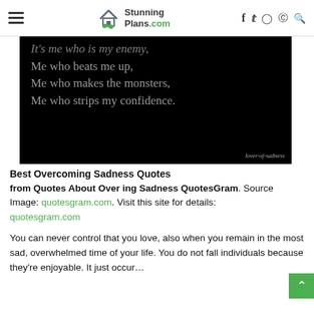StunningPlans.com — navigation header with hamburger menu, logo, and social icons (f, twitter, instagram, pinterest, search)
[Figure (photo): Black background image with gray serif text reading: It's me who is my enemy, / Me who beats me up, / Me who makes the monsters, / Me who strips my confidence. Watermark: lover-of-sadness]
Best Overcoming Sadness Quotes
from Quotes About Over ing Sadness QuotesGram. Source Image: quotesgram.com. Visit this site for details: quotesgram.com
You can never control that you love, also when you remain in the most sad, overwhelmed time of your life. You do not fall individuals because they're enjoyable. It just occur…